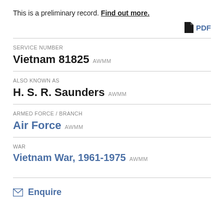This is a preliminary record. Find out more.
PDF
SERVICE NUMBER
Vietnam 81825 AWMM
ALSO KNOWN AS
H. S. R. Saunders AWMM
ARMED FORCE / BRANCH
Air Force AWMM
WAR
Vietnam War, 1961-1975 AWMM
Enquire